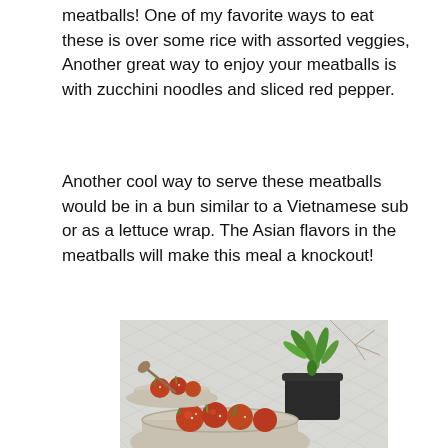meatballs! One of my favorite ways to eat these is over some rice with assorted veggies, Another great way to enjoy your meatballs is with zucchini noodles and sliced red pepper.
Another cool way to serve these meatballs would be in a bun similar to a Vietnamese sub or as a lettuce wrap. The Asian flavors in the meatballs will make this meal a knockout!
[Figure (photo): Food photography showing two ceramic bowls with meatballs in sauce garnished with green onions and sesame seeds, a spoon in one bowl, and a small dark pot with a green succulent plant on a light marble/tile background.]